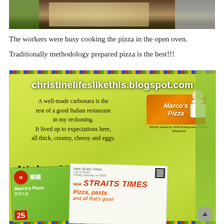[Figure (photo): Top portion of a photo showing workers cooking pizza in an open oven at a restaurant, with brown counter/bar visible]
The workers were busy cooking the pizza in the open oven.
Traditionally methodology prepared pizza is the best!!!
[Figure (photo): Photo of a Marco's Pizza restaurant display board with yellow background showing a quote about carbonara and pizza, a Marco's Pizza logo with chef character, and newspaper clippings including New Straits Times. Watermark reads christinelifeslikethis.blogspot.com]